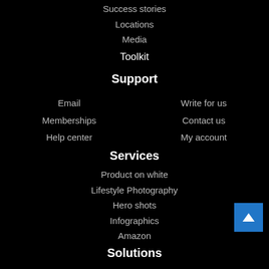Success stories
Locations
Media
Toolkit
Support
Email
Write for us
Memberships
Contact us
Help center
My account
Services
Product on white
Lifestyle Photography
Hero shots
Infographics
Amazon
Solutions